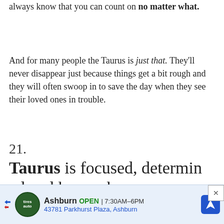always know that you can count on no matter what.
And for many people the Taurus is just that. They'll never disappear just because things get a bit rough and they will often swoop in to save the day when they see their loved ones in trouble.
21. Taurus is focused, determined and knows how to HUSTLE.
[Figure (other): Advertisement banner for Tires Auto in Ashburn showing logo, open hours 7:30AM-6PM, address 43781 Parkhurst Plaza Ashburn, and navigation icon.]